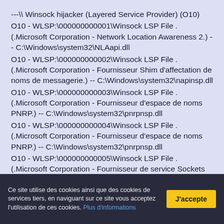---\ Winsock hijacker (Layered Service Provider) (O10)
O10 - WLSP:\000000000001\Winsock LSP File . (.Microsoft Corporation - Network Location Awareness 2.) -- C:\Windows\system32\NLAapi.dll
O10 - WLSP:\000000000002\Winsock LSP File . (.Microsoft Corporation - Fournisseur Shim d'affectation de noms de messagerie.) -- C:\Windows\system32\napinsp.dll
O10 - WLSP:\000000000003\Winsock LSP File . (.Microsoft Corporation - Fournisseur d'espace de noms PNRP.) -- C:\Windows\system32\pnrpnsp.dll
O10 - WLSP:\000000000004\Winsock LSP File . (.Microsoft Corporation - Fournisseur d'espace de noms PNRP.) -- C:\Windows\system32\pnrpnsp.dll
O10 - WLSP:\000000000005\Winsock LSP File . (.Microsoft Corporation - Fournisseur de service Sockets 2.0 de Microsoft Windows.) -- C:\Windows\system32\mswsock.dll =>.Microsoft Corporation
O10 - WLSP:\000000000006\Winsock LSP File . (.Microsof...
Ce site utilise des cookies ainsi que des cookies de services tiers, en naviguant sur ce site vous acceptez l'utilisation de ces cookies. Plus d'informations